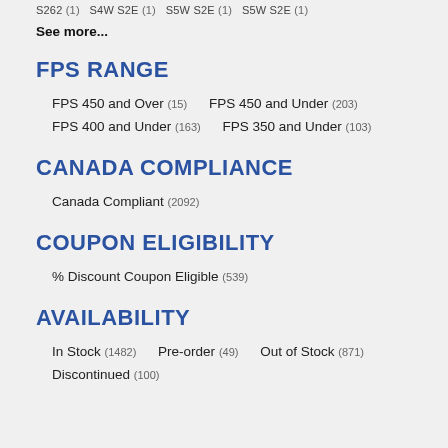S262 (1)  S4W S2E (1)  S5W S2E (1)  S5W S2E (1)
See more...
FPS RANGE
FPS 450 and Over (15)
FPS 450 and Under (203)
FPS 400 and Under (163)
FPS 350 and Under (103)
CANADA COMPLIANCE
Canada Compliant (2092)
COUPON ELIGIBILITY
% Discount Coupon Eligible (539)
AVAILABILITY
In Stock (1482)
Pre-order (49)
Out of Stock (871)
Discontinued (100)